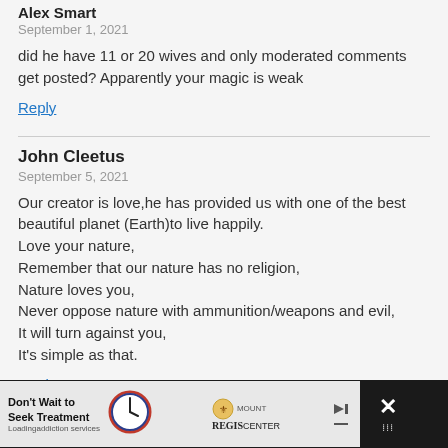Alex Smart
September 1, 2021
did he have 11 or 20 wives and only moderated comments get posted? Apparently your magic is weak
Reply
John Cleetus
September 5, 2021
Our creator is love,he has provided us with one of the best beautiful planet (Earth)to live happily.
Love your nature,
Remember that our nature has no religion,
Nature loves you,
Never oppose nature with ammunition/weapons and evil,
It will turn against you,
It's simple as that.
Reply
[Figure (other): Advertisement banner for Mount Regis Center addiction services with clock graphic and logo]